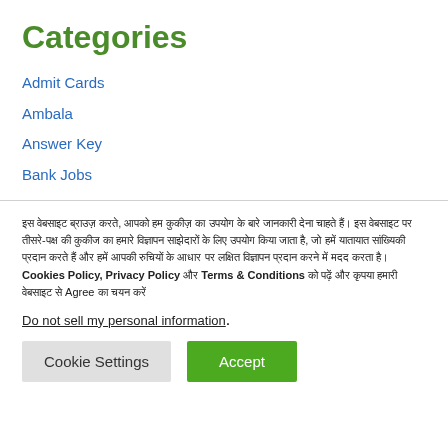Categories
Admit Cards
Ambala
Answer Key
Bank Jobs
इस वेबसाइट ब्राउज़ करते, आपको हम कुकीज़ का उपयोग के बारे जानकारी देना चाहते हैं। इस वेबसाइट पर तीसरे-पक्ष की कुकीज का हमारे विज्ञापन साझेदारों के लिए उपयोग किया जाता है, जो हमें यातायात सांख्यिकी प्रदान करते हैं और हमें आपकी रुचियों के आधार पर लक्षित विज्ञापन प्रदान करने में मदद करता है। Cookies Policy, Privacy Policy और Terms & Conditions को पढ़ें और कृपया हमारी वेबसाइट से Agree का चयन करें
Do not sell my personal information.
Cookie Settings
Accept